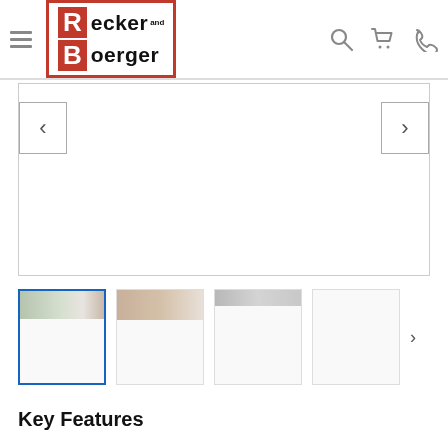[Figure (logo): Recker and Boerger logo with red R and B letters in a red-bordered box]
[Figure (screenshot): Main product image carousel area with left and right navigation arrows, currently showing a white/empty main image]
[Figure (screenshot): Thumbnail strip with 4 product image thumbnails; first thumbnail is selected with blue border, showing partial room/appliance images]
Key Features